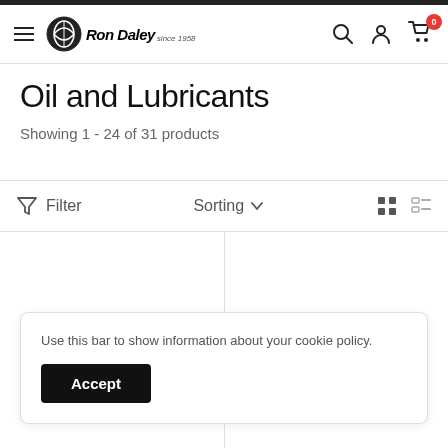[Figure (logo): Ron Daley since 1958 logo with circular motorcycle wing emblem]
Oil and Lubricants
Showing 1 - 24 of 31 products
Filter   Sorting
Use this bar to show information about your cookie policy.
Accept